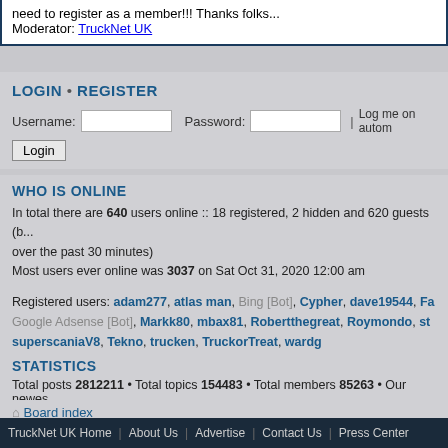need to register as a member!!! Thanks folks... Moderator: TruckNet UK
LOGIN • REGISTER
Username: [input] Password: [input] | Log me on autom...
Login [button]
WHO IS ONLINE
In total there are 640 users online :: 18 registered, 2 hidden and 620 guests (b... over the past 30 minutes)
Most users ever online was 3037 on Sat Oct 31, 2020 12:00 am
Registered users: adam277, atlas man, Bing [Bot], Cypher, dave19544, Fa... Google Adsense [Bot], Markk80, mbax81, Robertthegreat, Roymondo, st... superscaniaV8, Tekno, trucken, TruckorTreat, wardg
Legend: Administrators, Forum Sponsor, Registered users
STATISTICS
Total posts 2812211 • Total topics 154483 • Total members 85263 • Our newes...
Board index
The team • Delete all board cookies • All times are UTC [ DST ]
TruckNet UK Home | About Us | Advertise | Contact Us | Press Center